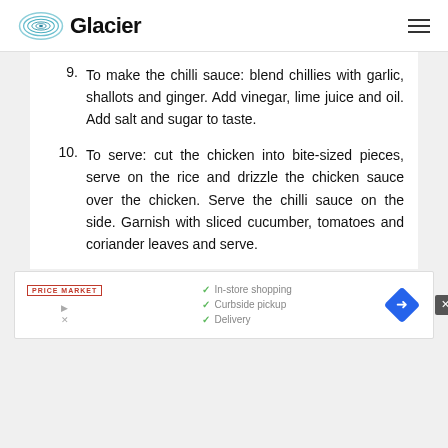Glacier
9. To make the chilli sauce: blend chillies with garlic, shallots and ginger. Add vinegar, lime juice and oil. Add salt and sugar to taste.
10. To serve: cut the chicken into bite-sized pieces, serve on the rice and drizzle the chicken sauce over the chicken. Serve the chilli sauce on the side. Garnish with sliced cucumber, tomatoes and coriander leaves and serve.
[Figure (screenshot): Advertisement banner showing Price Market logo with checkmarks for In-store shopping, Curbside pickup, and Delivery, and a navigation diamond icon]